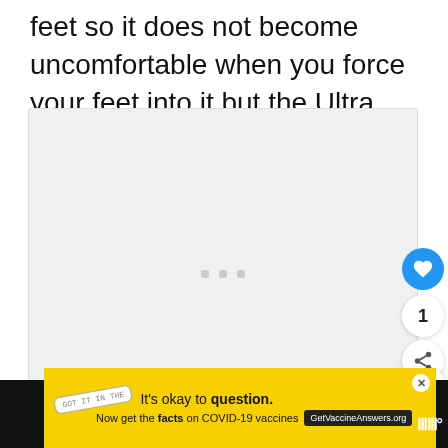feet so it does not become uncomfortable when you force your feet into it but the Ultra Boost adjusts to feet size.
[Figure (photo): Large image placeholder box with loading dots, showing an empty light gray rectangle with three small gray square dots in the center]
1
WHAT'S NEXT → Old Skool vs Comfycush...
It's okay to question. Now get the facts on COVID-19 vaccines GetVaccineAnswers.org